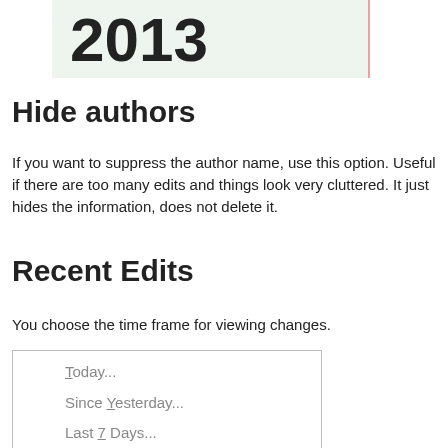[Figure (screenshot): Partial screenshot showing the year '2013' in large bold text on a light green background with a pink/red right border]
Hide authors
If you want to suppress the author name, use this option. Useful if there are too many edits and things look very cluttered. It just hides the information, does not delete it.
Recent Edits
You choose the time frame for viewing changes.
[Figure (screenshot): Dropdown menu showing options: Today..., Since Yesterday..., Last 7 Days..., Last 14 Days...]